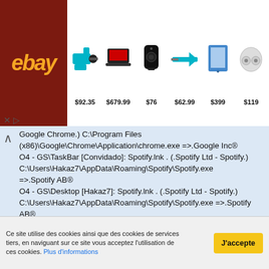[Figure (screenshot): eBay advertisement banner showing products with prices: drill set $92.35, laptop $679.99, speaker $76, tool $62.99, tablet $399, earbuds $119]
Google Chrome.) C:\Program Files (x86)\Google\Chrome\Application\chrome.exe =>.Google Inc®
O4 - GS\TaskBar [Convidado]: Spotify.lnk . (.Spotify Ltd - Spotify.) C:\Users\Hakaz7\AppData\Roaming\Spotify\Spotify.exe =>.Spotify AB®
O4 - GS\Desktop [Hakaz7]: Spotify.lnk . (.Spotify Ltd - Spotify.) C:\Users\Hakaz7\AppData\Roaming\Spotify\Spotify.exe =>.Spotify AB®
O4 - GS\Desktop [Hakaz7]: ZHPDiag.lnk . (...) C:\Users\Hakaz7\AppData\Roaming\ZHP\ZHPDiag3.exe
O4 - GS\Desktop [Hakaz7]: µTorrent.lnk . (.BitTorrent Inc. - µTorrent.) C:\Users\Hakaz7\AppData\Roaming\uTorrent\uTorrent.exe =>.BitTorrent Inc®
Ce site utilise des cookies ainsi que des cookies de services tiers, en naviguant sur ce site vous acceptez l'utilisation de ces cookies. Plus d'informations